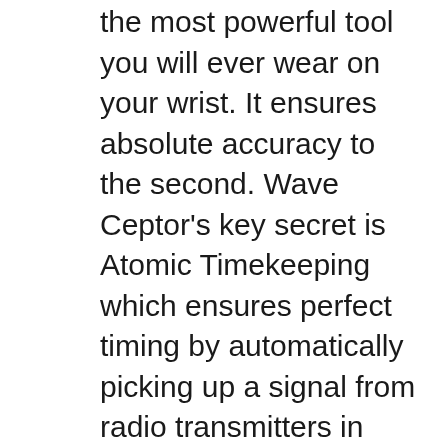the most powerful tool you will ever wear on your wrist. It ensures absolute accuracy to the second. Wave Ceptor's key secret is Atomic Timekeeping which ensures perfect timing by automatically picking up a signal from radio transmitters in locations all over the world. These radio controlled watches are dual region which, unlike other radio controlled products, allow
Fitness manuals and free pdf instructions. Find the personal fitness user manual you need at ManualsOnline. Casio 3747 Watch User Manual. Open as PDF. of 5 Operation Guide COMBIWAVE1. 1. Casio MARATHON T5K359 set manual... I can't